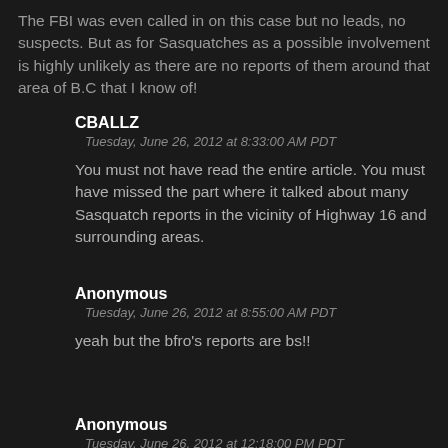The FBI was even called in on this case but no leads, no suspects. But as for Sasquatches as a possible involvement is highly unlikely as there are no reports of them around that area of B.C that I know of!
CBALLZ
Tuesday, June 26, 2012 at 8:33:00 AM PDT
You must not have read the entire article. You must have missed the part where it talked about many Sasquatch reports in the vicinity of Highway 16 and surrounding areas.
Anonymous
Tuesday, June 26, 2012 at 8:55:00 AM PDT
yeah but the bfro's reports are bs!!
Anonymous
Tuesday, June 26, 2012 at 12:18:00 PM PDT